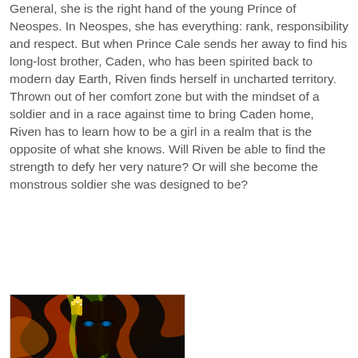General, she is the right hand of the young Prince of Neospes. In Neospes, she has everything: rank, responsibility and respect. But when Prince Cale sends her away to find his long-lost brother, Caden, who has been spirited back to modern day Earth, Riven finds herself in uncharted territory. Thrown out of her comfort zone but with the mindset of a soldier and in a race against time to bring Caden home, Riven has to learn how to be a girl in a realm that is the opposite of what she knows. Will Riven be able to find the strength to defy her very nature? Or will she become the monstrous soldier she was designed to be?
[Figure (photo): A colorful fantasy/sci-fi style image showing a face with dramatic makeup, gold-tipped fingers raised near the face, with vivid red, green and yellow swirling colors in the background.]